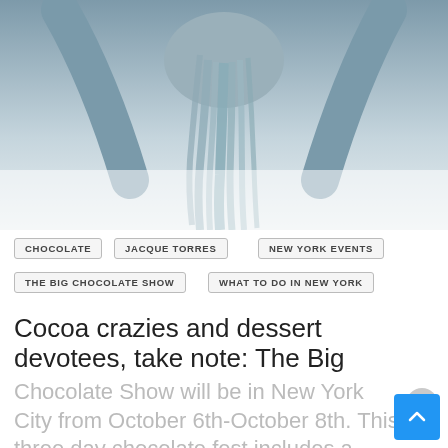[Figure (photo): Black and white / blue-tinted photo of a person bent forward with long hair flowing down, legs spread wide on a white background.]
CHOCOLATE
JACQUE TORRES
NEW YORK EVENTS
THE BIG CHOCOLATE SHOW
WHAT TO DO IN NEW YORK
Cocoa crazies and dessert devotees, take note: The Big
Chocolate Show will be in New York City from October 6th-October 8th. This three day chocolate fest includes a...